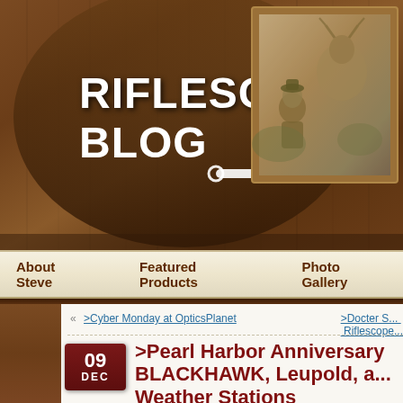[Figure (screenshot): Riflescope Blog website header with wooden background, blog logo/title on left, hunter photo in frame on right]
RIFLESCOPE BLOG
About Steve
Featured Products
Photo Gallery
« >Cyber Monday at OpticsPlanet
>Docter S... Riflescope...
>Pearl Harbor Anniversary BLACKHAWK, Leupold, a... Weather Stations
Steven K. Ledin, December 9, 2009
>